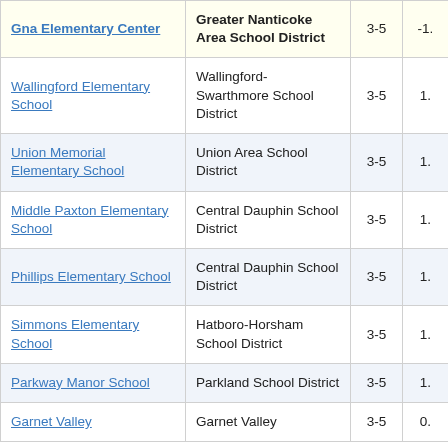| School | District | Grades | Score |
| --- | --- | --- | --- |
| Gna Elementary Center | Greater Nanticoke Area School District | 3-5 | -1. |
| Wallingford Elementary School | Wallingford-Swarthmore School District | 3-5 | 1. |
| Union Memorial Elementary School | Union Area School District | 3-5 | 1. |
| Middle Paxton Elementary School | Central Dauphin School District | 3-5 | 1. |
| Phillips Elementary School | Central Dauphin School District | 3-5 | 1. |
| Simmons Elementary School | Hatboro-Horsham School District | 3-5 | 1. |
| Parkway Manor School | Parkland School District | 3-5 | 1. |
| Garnet Valley | Garnet Valley | 3-5 | 0. |